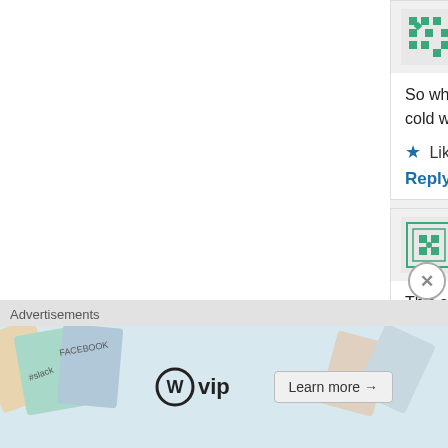[Figure (other): User avatar for Stepha - green geometric pattern avatar]
Stepha
Novem
So who REALLY cold weather.
Like
Reply
[Figure (other): User avatar for Stacy s - green dotted pattern avatar]
Stacy s
Novem
This sounds bey to another area being ripped ap
Liked by 1 per
Reply
Advertisements
[Figure (logo): WordPress VIP logo with W circle and vip text]
Learn more →